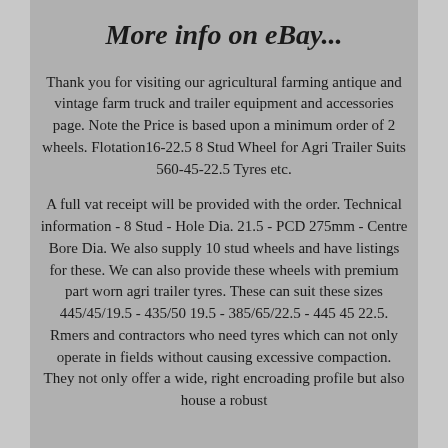More info on eBay...
Thank you for visiting our agricultural farming antique and vintage farm truck and trailer equipment and accessories page. Note the Price is based upon a minimum order of 2 wheels. Flotation16-22.5 8 Stud Wheel for Agri Trailer Suits 560-45-22.5 Tyres etc.
A full vat receipt will be provided with the order. Technical information - 8 Stud - Hole Dia. 21.5 - PCD 275mm - Centre Bore Dia. We also supply 10 stud wheels and have listings for these. We can also provide these wheels with premium part worn agri trailer tyres. These can suit these sizes 445/45/19.5 - 435/50 19.5 - 385/65/22.5 - 445 45 22.5. Rmers and contractors who need tyres which can not only operate in fields without causing excessive compaction. They not only offer a wide, right encroading profile but also house a robust